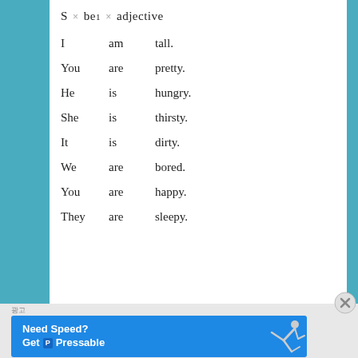I am tall.
You are pretty.
He is hungry.
She is thirsty.
It is dirty.
We are bored.
You are happy.
They are sleepy.
[Figure (other): Advertisement banner: 'Need Speed? Get Pressable' with a person flying/running image on blue background]